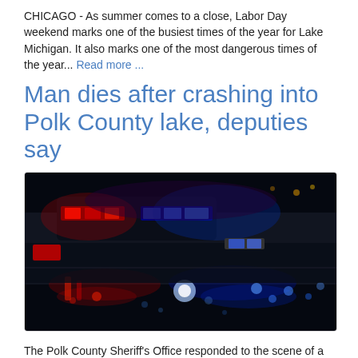CHICAGO - As summer comes to a close, Labor Day weekend marks one of the busiest times of the year for Lake Michigan. It also marks one of the most dangerous times of the year... Read more ...
Man dies after crashing into Polk County lake, deputies say
[Figure (photo): Dark nighttime photo of police car with red and blue emergency lights illuminated, reflecting off a wet surface]
The Polk County Sheriff's Office responded to the scene of a deadly crash Sunday. Read more ...